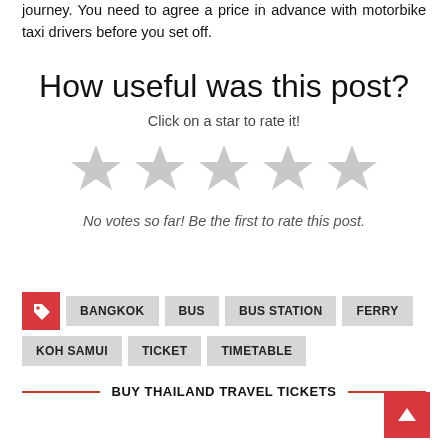journey. You need to agree a price in advance with motorbike taxi drivers before you set off.
How useful was this post?
Click on a star to rate it!
[Figure (other): Five grey star rating icons (empty/unrated)]
No votes so far! Be the first to rate this post.
BANGKOK
BUS
BUS STATION
FERRY
KOH SAMUI
TICKET
TIMETABLE
BUY THAILAND TRAVEL TICKETS